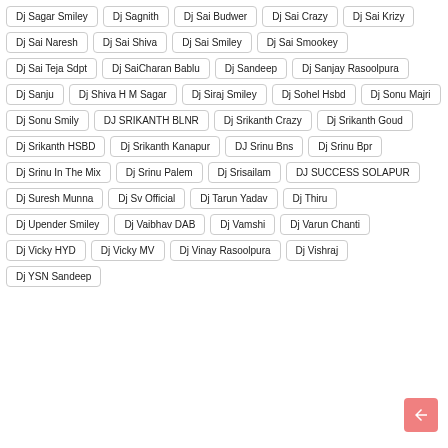Dj Sagar Smiley
Dj Sagnith
Dj Sai Budwer
Dj Sai Crazy
Dj Sai Krizy
Dj Sai Naresh
Dj Sai Shiva
Dj Sai Smiley
Dj Sai Smookey
Dj Sai Teja Sdpt
Dj SaiCharan Bablu
Dj Sandeep
Dj Sanjay Rasoolpura
Dj Sanju
Dj Shiva H M Sagar
Dj Siraj Smiley
Dj Sohel Hsbd
Dj Sonu Majri
Dj Sonu Smily
DJ SRIKANTH BLNR
Dj Srikanth Crazy
Dj Srikanth Goud
Dj Srikanth HSBD
Dj Srikanth Kanapur
DJ Srinu Bns
Dj Srinu Bpr
Dj Srinu In The Mix
Dj Srinu Palem
Dj Srisailam
DJ SUCCESS SOLAPUR
Dj Suresh Munna
Dj Sv Official
Dj Tarun Yadav
Dj Thiru
Dj Upender Smiley
Dj Vaibhav DAB
Dj Vamshi
Dj Varun Chanti
Dj Vicky HYD
Dj Vicky MV
Dj Vinay Rasoolpura
Dj Vishraj
Dj YSN Sandeep